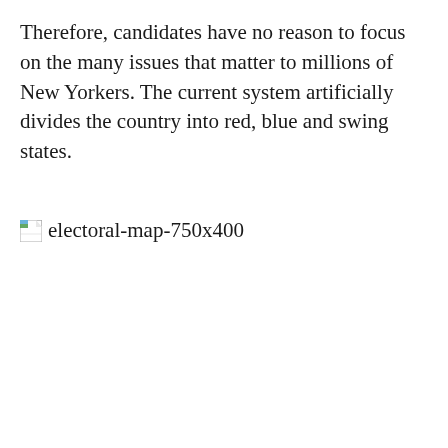Therefore, candidates have no reason to focus on the many issues that matter to millions of New Yorkers. The current system artificially divides the country into red, blue and swing states.
[Figure (other): Broken image placeholder labeled 'electoral-map-750x400']